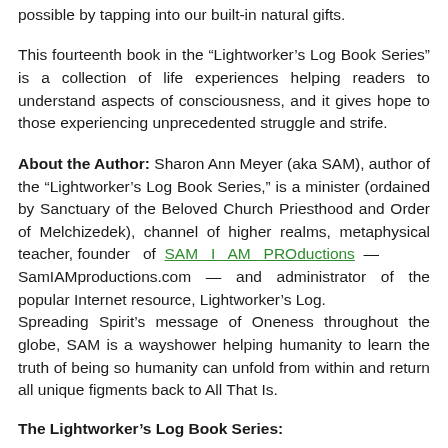possible by tapping into our built-in natural gifts.
This fourteenth book in the “Lightworker’s Log Book Series” is a collection of life experiences helping readers to understand aspects of consciousness, and it gives hope to those experiencing unprecedented struggle and strife.
About the Author: Sharon Ann Meyer (aka SAM), author of the “Lightworker’s Log Book Series,” is a minister (ordained by Sanctuary of the Beloved Church Priesthood and Order of Melchizedek), channel of higher realms, metaphysical teacher, founder of SAM I AM PROductions – SamIAMproductions.com – and administrator of the popular Internet resource, Lightworker’s Log. Spreading Spirit’s message of Oneness throughout the globe, SAM is a wayshower helping humanity to learn the truth of being so humanity can unfold from within and return all unique figments back to All That Is.
The Lightworker’s Log Book Series: